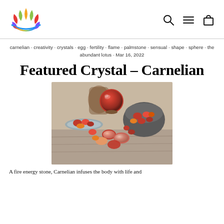[Figure (logo): Rainbow lotus flower logo with colorful petals (red, orange, yellow, green, blue, purple) and a blue arc base]
[Figure (other): Navigation icons: search magnifier, horizontal lines menu, and shopping bag]
carnelian · creativity · crystals · egg · fertility · flame · palmstone · sensual · shape · sphere · the abundant lotus · Mar 16, 2022
Featured Crystal – Carnelian
[Figure (photo): Photo of multiple carnelian crystals in various shapes (eggs, spheres, palmstones) displayed in bowls and scattered on a wooden surface]
A fire energy stone, Carnelian infuses the body with life and